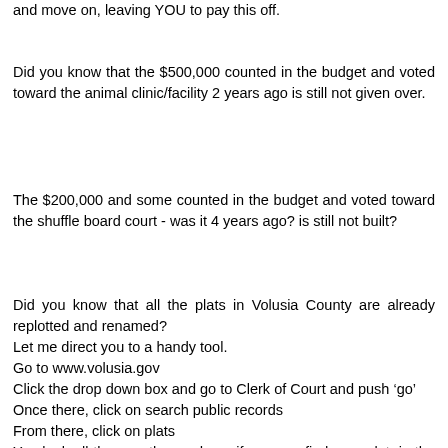and move on, leaving YOU to pay this off.
Did you know that the $500,000 counted in the budget and voted toward the animal clinic/facility 2 years ago is still not given over.
The $200,000 and some counted in the budget and voted toward the shuffle board court - was it 4 years ago? is still not built?
Did you know that all the plats in Volusia County are already replotted and renamed?
Let me direct you to a handy tool.
Go to www.volusia.gov
Click the drop down box and go to Clerk of Court and push ‘go’
Once there, click on search public records
From there, click on plats
You look all the way thru and see if you can find your plat, in the original description. There are only a few, the Shores being one of them; however, if you look at the maps, you will see that even the Shores have been re - subdivided.
Go back to the Drop down list and choose the Property